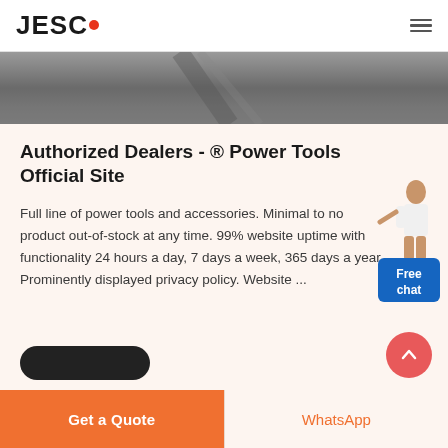JESCO
[Figure (photo): Dark blurred background image, appears to be a surface/road scene]
Authorized Dealers - ® Power Tools Official Site
[Figure (illustration): Woman in business attire pointing, with a blue 'Free chat' widget box]
Full line of power tools and accessories. Minimal to no product out-of-stock at any time. 99% website uptime with functionality 24 hours a day, 7 days a week, 365 days a year. Prominently displayed privacy policy. Website ...
Get a Quote
WhatsApp